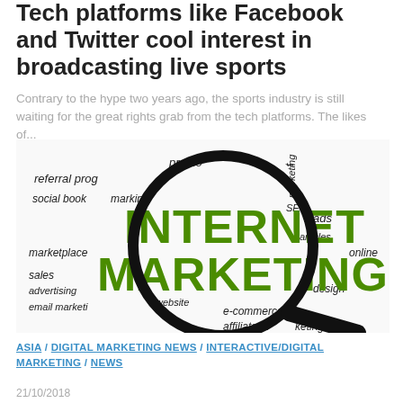Tech platforms like Facebook and Twitter cool interest in broadcasting live sports
Contrary to the hype two years ago, the sports industry is still waiting for the great rights grab from the tech platforms. The likes of...
[Figure (illustration): Internet Marketing word cloud image with a magnifying glass highlighting the words INTERNET MARKETING in large green graffiti-style text, surrounded by related marketing terms: referral program, social bookmarking, promotion, marketing, leads, articles, marketplace, SEO, online, sales, advertising, website, email marketing, e-commerce, affiliate marketing, design]
ASIA / DIGITAL MARKETING NEWS / INTERACTIVE/DIGITAL MARKETING / NEWS
21/10/2018